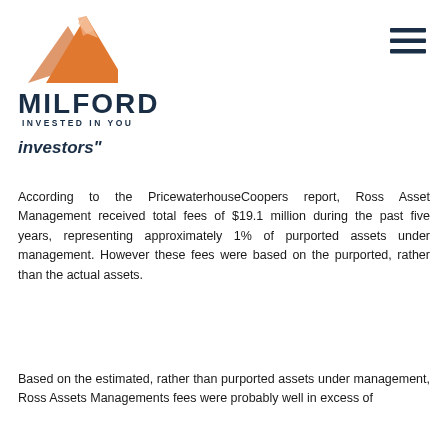[Figure (logo): Milford mountain logo — orange/peach stylized mountain peak]
[Figure (other): Hamburger menu icon — three dark horizontal lines]
MILFORD
INVESTED IN YOU
investors"
According to the PricewaterhouseCoopers report, Ross Asset Management received total fees of $19.1 million during the past five years, representing approximately 1% of purported assets under management. However these fees were based on the purported, rather than the actual assets.
Based on the estimated, rather than purported assets under management, Ross Assets Managements fees were probably well in excess of